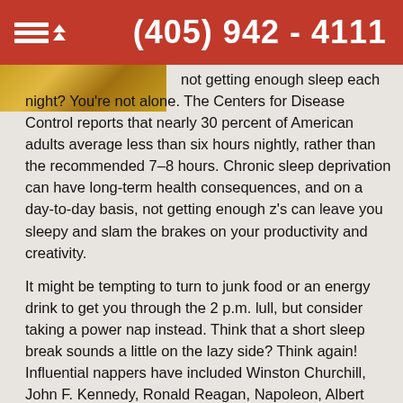(405) 942 - 4111
not getting enough sleep each night? You're not alone. The Centers for Disease Control reports that nearly 30 percent of American adults average less than six hours nightly, rather than the recommended 7–8 hours. Chronic sleep deprivation can have long-term health consequences, and on a day-to-day basis, not getting enough z's can leave you sleepy and slam the brakes on your productivity and creativity.
It might be tempting to turn to junk food or an energy drink to get you through the 2 p.m. lull, but consider taking a power nap instead. Think that a short sleep break sounds a little on the lazy side? Think again! Influential nappers have included Winston Churchill, John F. Kennedy, Ronald Reagan, Napoleon, Albert Einstein, Thomas Edison, George W. Bush, and Eleanor Roosevelt. Each of these figures already knew what science is now confirming: A power nap can boost your memory, cognitive skills, creativity, and energy levels.